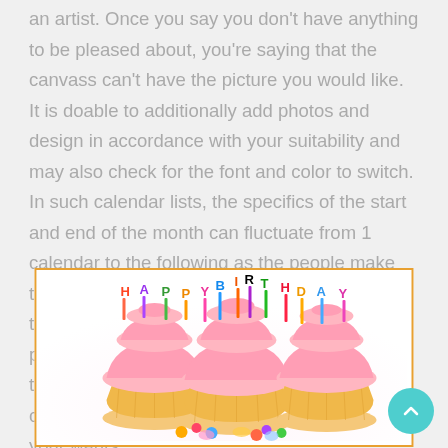an artist. Once you say you don't have anything to be pleased about, you're saying that the canvass can't have the picture you would like. It is doable to additionally add photos and design in accordance with your suitability and may also check for the font and color to switch. In such calendar lists, the specifics of the start and end of the month can fluctuate from 1 calendar to the following as the people make the most of numerous approaches to figure out the data. Your private type will choose the precise nature of your personal routines, but the trick is to have them. You're capable of change the font fashion and dimension to fulfill your wants.
[Figure (photo): Photo of colorful Happy Birthday cupcakes with letter candles spelling 'HAPPY BIRTHDAY', pink frosted cupcakes with colorful decorations on a white background, inside an orange-bordered frame]